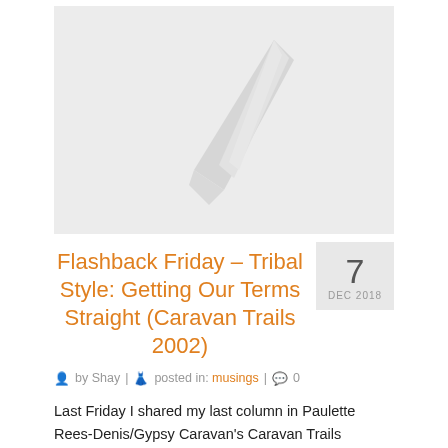[Figure (illustration): Placeholder image with a gray background and a simple feather/quill pen icon in light gray]
Flashback Friday – Tribal Style: Getting Our Terms Straight (Caravan Trails 2002)
7 DEC 2018
by Shay | posted in: musings | 0
Last Friday I shared my last column in Paulette Rees-Denis/Gypsy Caravan's Caravan Trails newsletter, Of The Tribe, in which I reviewed my